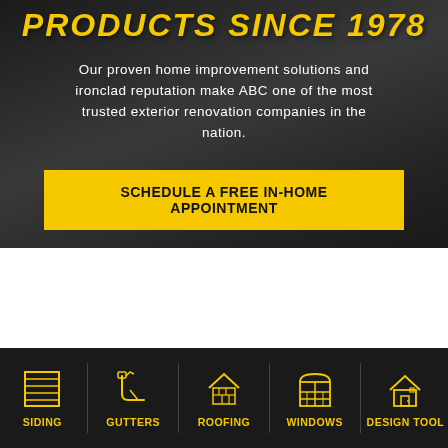PRODUCTS SINCE 1978
Our proven home improvement solutions and ironclad reputation make ABC one of the most trusted exterior renovation companies in the nation.
SCHEDULE A FREE IN-HOME APPOINTMENT
[Figure (illustration): Dark background image of roofing/construction equipment with diagonal white cut at bottom]
[Figure (infographic): Navigation bar with five yellow icons and labels: SIDING, GUTTERS, ROOFING, WINDOWS, DESIGN TOOL on dark background]